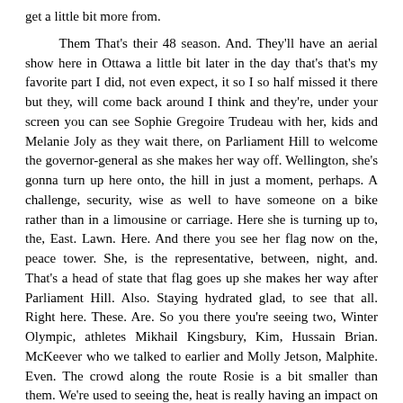get a little bit more from.
Them That's their 48 season. And. They'll have an aerial show here in Ottawa a little bit later in the day that's that's my favorite part I did, not even expect, it so I so half missed it there but they, will come back around I think and they're, under your screen you can see Sophie Gregoire Trudeau with her, kids and Melanie Joly as they wait there, on Parliament Hill to welcome the governor-general as she makes her way off. Wellington, she's gonna turn up here onto, the hill in just a moment, perhaps. A challenge, security, wise as well to have someone on a bike rather than in a limousine or carriage. Here she is turning up to, the, East. Lawn. Here. And there you see her flag now on the, peace tower. She, is the representative, between, night, and. That's a head of state that flag goes up she makes her way after Parliament Hill. Also. Staying hydrated glad, to see that all. Right here. These. Are. So you there you're seeing two, Winter Olympic, athletes Mikhail Kingsbury, Kim, Hussain Brian. McKeever who we talked to earlier and Molly Jetson, Malphite. Even. The crowd along the route Rosie is a bit smaller than them. We're used to seeing the, heat is really having an impact on those numbers. Which, is gonna make her way up to the red carpet here where Prime. Minister's wife and kids are as well as the Heritage Minister. And. That's where the. Fun. Events will get underway. I did hear someone say stop cut bone son which basically means can. You believe the heat. Because. It is a hot one there. She is breeding some of the representatives, of indigenous, groups. In. This country Alberta Polson grand chief of the Algonquin, nation. We, are of course on unceded, territory of, the Algonquin nation here in Parliament Hill roger, augustine the regional chief of the Assembly of First Nations there's an election going on right now so that's why we're getting him and, Notaro. Bed ahead, of the itk the Inuit tougher it kind of Tommy and they will all now make their way to close. To where boshy is their the Centennial, flame they. Are they're heading